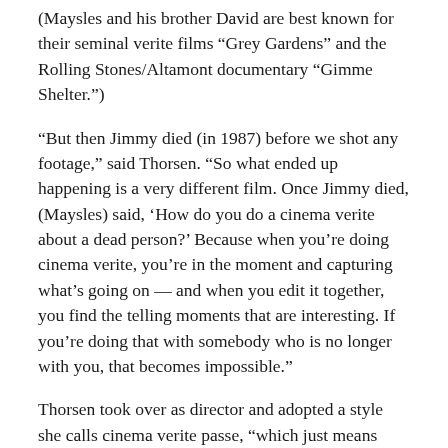(Maysles and his brother David are best known for their seminal verite films “Grey Gardens” and the Rolling Stones/Altamont documentary “Gimme Shelter.”)
“But then Jimmy died (in 1987) before we shot any footage,” said Thorsen. “So what ended up happening is a very different film. Once Jimmy died, (Maysles) said, ‘How do you do a cinema verite about a dead person?’ Because when you’re doing cinema verite, you’re in the moment and capturing what’s going on — and when you edit it together, you find the telling moments that are interesting. If you’re doing that with somebody who is no longer with you, that becomes impossible.”
Thorsen took over as director and adopted a style she calls cinema verite passe, “which just means cinema verite in the past tense.” Most of the film is footage of Baldwin himself — TV interviews, but also informal footage shot throughout various periods of his life, including his time in a small Swiss village when he wrote what would become his most famous novel, 1953’s “Go Tell It on the Mountain.”